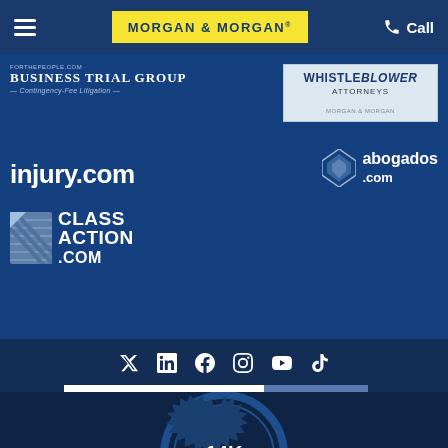Morgan & Morgan | Call
[Figure (logo): Business Trial Group - Contingency-Fee Litigation logo]
[Figure (logo): Whistleblower Attorneys - Morgan & Morgan logo]
[Figure (logo): injury.com logo]
[Figure (logo): abogados.com logo]
[Figure (logo): ClassAction.com logo]
[Figure (infographic): Social media icons: Twitter, LinkedIn, Facebook, Instagram, YouTube, TikTok]
Email address
Subscribe
[Figure (infographic): 14K badge/seal (partially visible)]